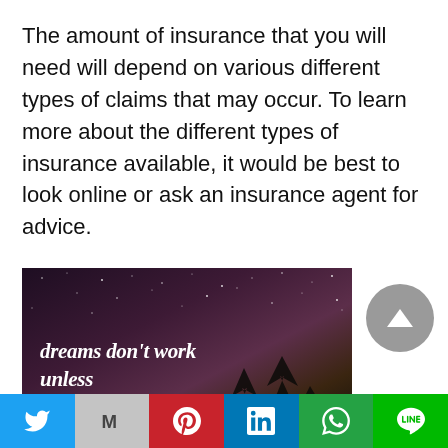The amount of insurance that you will need will depend on various different types of claims that may occur. To learn more about the different types of insurance available, it would be best to look online or ask an insurance agent for advice.
[Figure (illustration): Motivational quote image with dark starry night sky background and tree silhouettes. Text reads: 'dreams don't work unless someone does it for you']